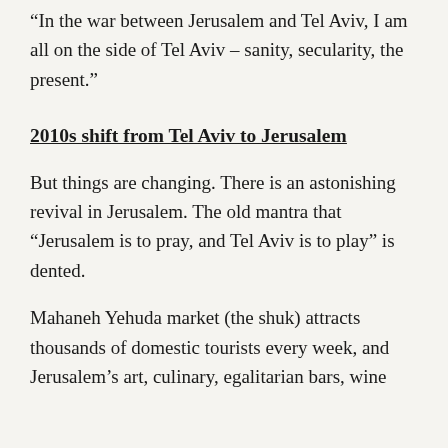“In the war between Jerusalem and Tel Aviv, I am all on the side of Tel Aviv – sanity, secularity, the present.”
2010s shift from Tel Aviv to Jerusalem
But things are changing. There is an astonishing revival in Jerusalem. The old mantra that “Jerusalem is to pray, and Tel Aviv is to play” is dented.
Mahaneh Yehuda market (the shuk) attracts thousands of domestic tourists every week, and Jerusalem’s art, culinary, egalitarian bars, wine